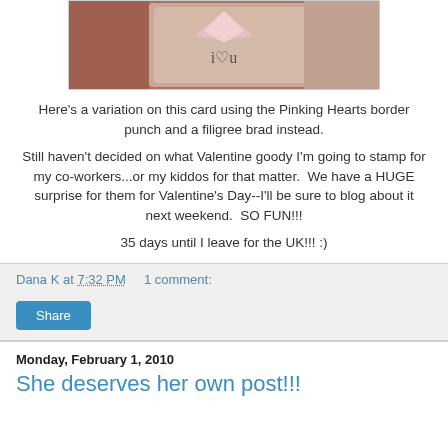[Figure (photo): Photo of a greeting card with 'i heart u' text on beige card with pink decorative elements on red background]
Here's a variation on this card using the Pinking Hearts border punch and a filigree brad instead.
Still haven't decided on what Valentine goody I'm going to stamp for my co-workers...or my kiddos for that matter.  We have a HUGE surprise for them for Valentine's Day--I'll be sure to blog about it next weekend.  SO FUN!!!
35 days until I leave for the UK!!! :)
Dana K at 7:32 PM    1 comment:
Share
Monday, February 1, 2010
She deserves her own post!!!